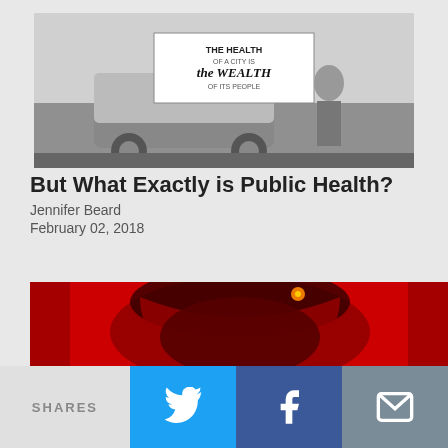[Figure (photo): Black and white photograph showing a vehicle with a sign reading 'The Health of a City is The Wealth of its People']
But What Exactly is Public Health?
Jennifer Beard
February 02, 2018
[Figure (photo): Close-up red-toned photograph showing a person's open mouth or throat, with a bright orange/yellow spot visible]
SHARES | Twitter share button | Facebook share button | Email share button